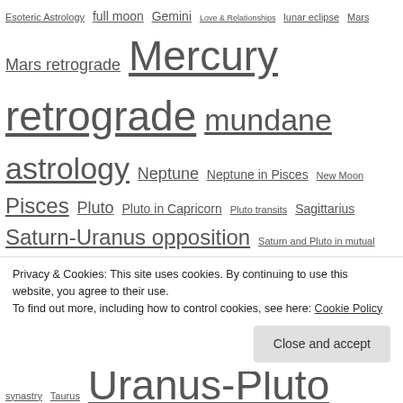Esoteric Astrology full moon Gemini Love & Relationships lunar eclipse Mars Mars retrograde Mercury retrograde mundane astrology Neptune Neptune in Pisces New Moon Pisces Pluto Pluto in Capricorn Pluto transits Sagittarius Saturn-Uranus opposition Saturn and Pluto in mutual reception Saturn in Libra Saturn in Scorpio Scorpio solar eclipse soul astrology synastry Taurus Uranus-Pluto square Uranus in Aries Venus Venus in Scorpio Venus retrograde Virgo
[Figure (other): Social media icons: RSS feed, YouTube, Twitter, Facebook]
Privacy & Cookies: This site uses cookies. By continuing to use this website, you agree to their use.
To find out more, including how to control cookies, see here: Cookie Policy
Close and accept